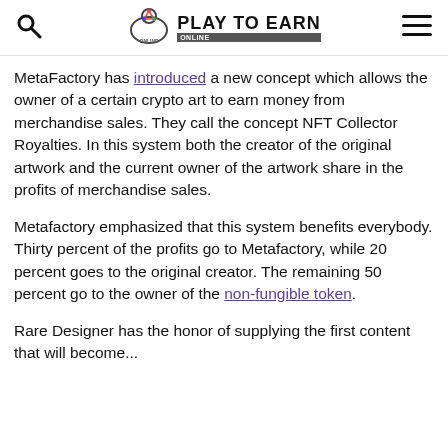Play To Earn Online
MetaFactory has introduced a new concept which allows the owner of a certain crypto art to earn money from merchandise sales. They call the concept NFT Collector Royalties. In this system both the creator of the original artwork and the current owner of the artwork share in the profits of merchandise sales.
Metafactory emphasized that this system benefits everybody. Thirty percent of the profits go to Metafactory, while 20 percent goes to the original creator. The remaining 50 percent go to the owner of the non-fungible token.
Rare Designer has the honor of supplying the first content that will become...